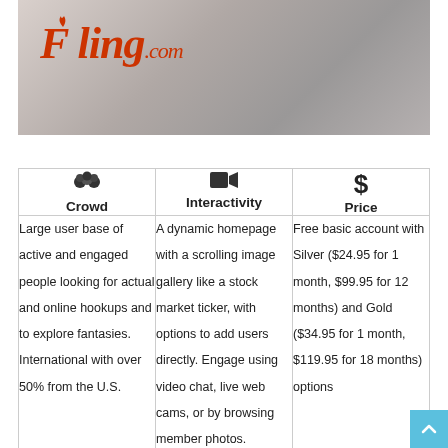[Figure (photo): Fling.com banner image with logo in red italic text on the left side and a muted photo of a person on the right side]
| Crowd | Interactivity | Price |
| --- | --- | --- |
| Large user base of active and engaged people looking for actual and online hookups and to explore fantasies. International with over 50% from the U.S. | A dynamic homepage with a scrolling image gallery like a stock market ticker, with options to add users directly. Engage using video chat, live web cams, or by browsing member photos. | Free basic account with Silver ($24.95 for 1 month, $99.95 for 12 months) and Gold ($34.95 for 1 month, $119.95 for 18 months) options |